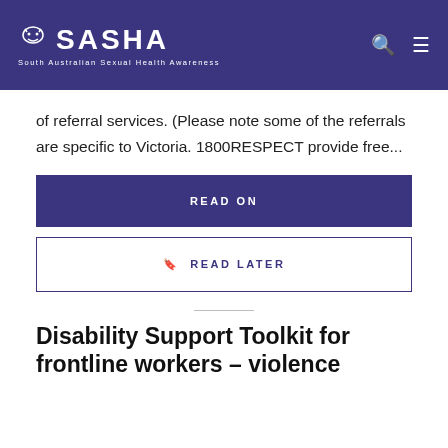SASHA — South Australian Sexual Health Awareness
of referral services. (Please note some of the referrals are specific to Victoria. 1800RESPECT provide free...
READ ON
🔖 READ LATER
Disability Support Toolkit for frontline workers – violence